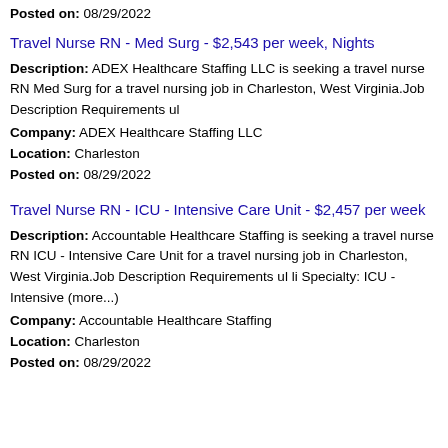Posted on: 08/29/2022
Travel Nurse RN - Med Surg - $2,543 per week, Nights
Description: ADEX Healthcare Staffing LLC is seeking a travel nurse RN Med Surg for a travel nursing job in Charleston, West Virginia.Job Description Requirements ul
Company: ADEX Healthcare Staffing LLC
Location: Charleston
Posted on: 08/29/2022
Travel Nurse RN - ICU - Intensive Care Unit - $2,457 per week
Description: Accountable Healthcare Staffing is seeking a travel nurse RN ICU - Intensive Care Unit for a travel nursing job in Charleston, West Virginia.Job Description Requirements ul li Specialty: ICU - Intensive (more...)
Company: Accountable Healthcare Staffing
Location: Charleston
Posted on: 08/29/2022